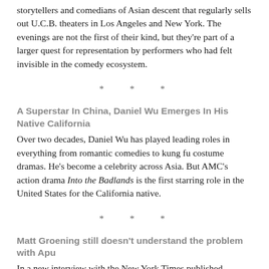storytellers and comedians of Asian descent that regularly sells out U.C.B. theaters in Los Angeles and New York. The evenings are not the first of their kind, but they're part of a larger quest for representation by performers who had felt invisible in the comedy ecosystem.
* * *
A Superstar In China, Daniel Wu Emerges In His Native California
Over two decades, Daniel Wu has played leading roles in everything from romantic comedies to kung fu costume dramas. He's become a celebrity across Asia. But AMC's action drama Into the Badlands is the first starring role in the United States for the California native.
* * *
Matt Groening still doesn't understand the problem with Apu
In a new interview with the New York Times published Wednesday, Simpsons creator Matt Groening seemed to